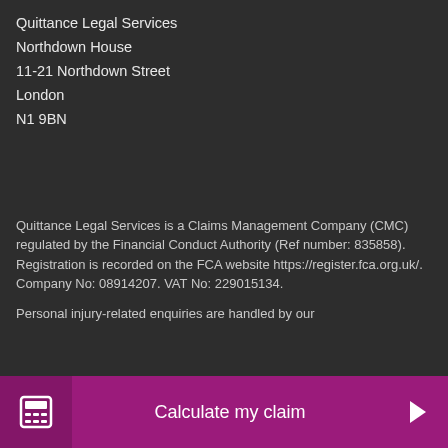Quittance Legal Services
Northdown House
11-21 Northdown Street
London
N1 9BN
Quittance Legal Services is a Claims Management Company (CMC) regulated by the Financial Conduct Authority (Ref number: 835858). Registration is recorded on the FCA website https://register.fca.org.uk/. Company No: 08914207. VAT No: 229015134.
Personal injury-related enquiries are handled by our
Calculate my claim